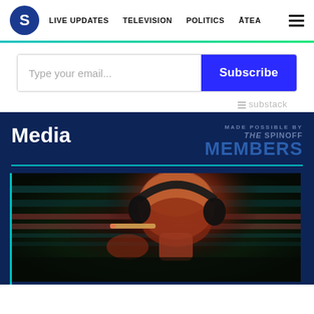S | LIVE UPDATES | TELEVISION | POLITICS | ĀTEA
[Figure (screenshot): Email subscribe form with text input and blue Subscribe button, with Substack logo below]
Media
MADE BY THE SPINOFF MEMBERS
[Figure (photo): Bald man with headphones holding a cigar, dramatic lighting, teal and red tones]